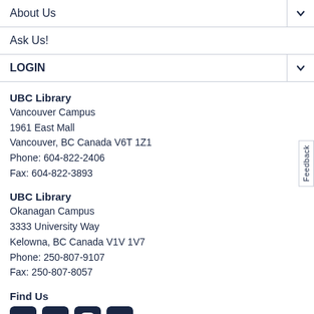About Us
Ask Us!
LOGIN
UBC Library
Vancouver Campus
1961 East Mall
Vancouver, BC Canada V6T 1Z1
Phone: 604-822-2406
Fax: 604-822-3893
UBC Library
Okanagan Campus
3333 University Way
Kelowna, BC Canada V1V 1V7
Phone: 250-807-9107
Fax: 250-807-8057
Find Us